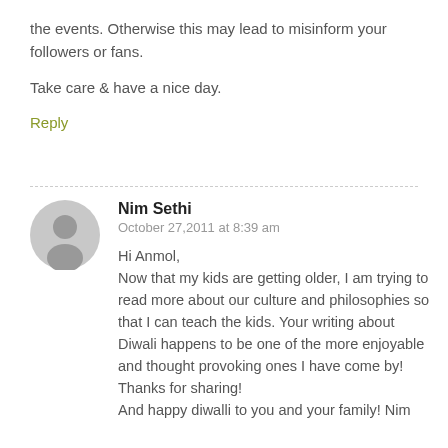the events. Otherwise this may lead to misinform your followers or fans.

Take care & have a nice day.
Reply
Nim Sethi
October 27,2011 at 8:39 am
Hi Anmol,
Now that my kids are getting older, I am trying to read more about our culture and philosophies so that I can teach the kids. Your writing about Diwali happens to be one of the more enjoyable and thought provoking ones I have come by! Thanks for sharing!
And happy diwalli to you and your family! Nim